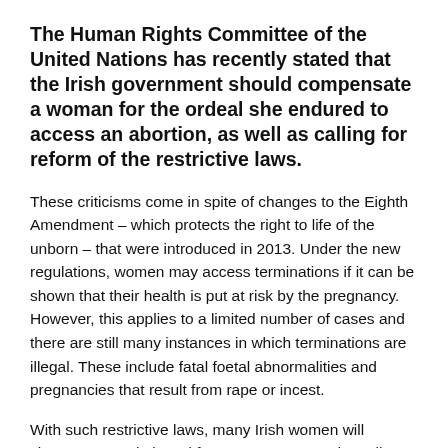The Human Rights Committee of the United Nations has recently stated that the Irish government should compensate a woman for the ordeal she endured to access an abortion, as well as calling for reform of the restrictive laws.
These criticisms come in spite of changes to the Eighth Amendment – which protects the right to life of the unborn – that were introduced in 2013. Under the new regulations, women may access terminations if it can be shown that their health is put at risk by the pregnancy.  However, this applies to a limited number of cases and there are still many instances in which terminations are illegal. These include fatal foetal abnormalities and pregnancies that result from rape or incest.
With such restrictive laws, many Irish women will choose to travel abroad for treatment. Amanda Mellet was once such woman – at twenty-one weeks, she learned that her foetus